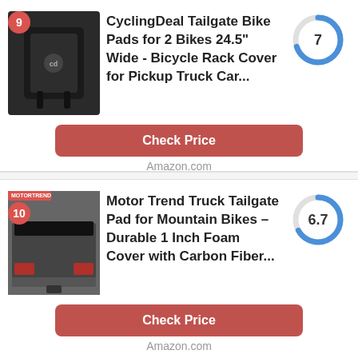[Figure (photo): Product #9: CyclingDeal black tailgate bike pad, folded, with logo. Red badge showing rank 9.]
CyclingDeal Tailgate Bike Pads for 2 Bikes 24.5" Wide - Bicycle Rack Cover for Pickup Truck Car...
[Figure (donut-chart): Donut chart showing score 7 out of 10, blue arc ~70%]
Check Price
Amazon.com
[Figure (photo): Product #10: Motor Trend truck tailgate pad shown on pickup truck bed. Motor Trend logo badge. Red badge showing rank 10.]
Motor Trend Truck Tailgate Pad for Mountain Bikes – Durable 1 Inch Foam Cover with Carbon Fiber...
[Figure (donut-chart): Donut chart showing score 6.7 out of 10, blue arc ~67%]
Check Price
Amazon.com